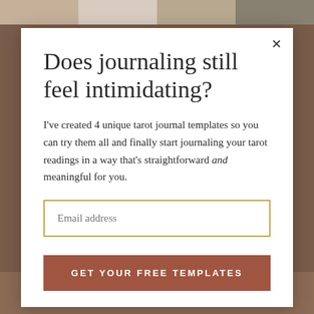[Figure (screenshot): Background showing website with brownish/terracotta color and faded photo strip at top showing candles]
Does journaling still feel intimidating?
I've created 4 unique tarot journal templates so you can try them all and finally start journaling your tarot readings in a way that's straightforward and meaningful for you.
Email address
GET YOUR FREE TEMPLATES
FAQs